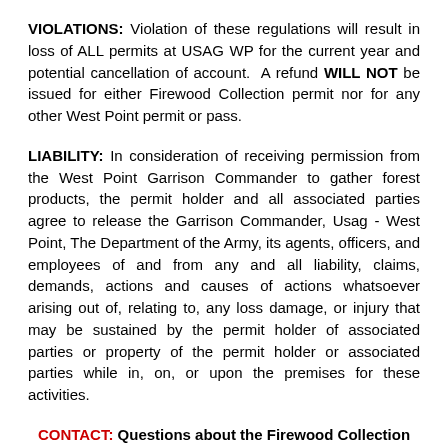VIOLATIONS: Violation of these regulations will result in loss of ALL permits at USAG WP for the current year and potential cancellation of account. A refund WILL NOT be issued for either Firewood Collection permit nor for any other West Point permit or pass.
LIABILITY: In consideration of receiving permission from the West Point Garrison Commander to gather forest products, the permit holder and all associated parties agree to release the Garrison Commander, Usag - West Point, The Department of the Army, its agents, officers, and employees of and from any and all liability, claims, demands, actions and causes of actions whatsoever arising out of, relating to, any loss damage, or injury that may be sustained by the permit holder of associated parties or property of the permit holder or associated parties while in, on, or upon the premises for these activities.
CONTACT: Questions about the Firewood Collection can be directed to Gabe Horton, Installation Forester. Ext. 3857. Email.